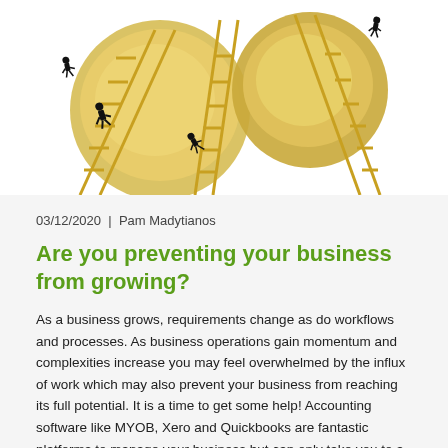[Figure (illustration): Illustration of small figurines of businesspeople in black suits climbing golden ladders leaning against large gold coins or spheres, symbolizing business growth and ambition.]
03/12/2020  |  Pam Madytianos
Are you preventing your business from growing?
As a business grows, requirements change as do workflows and processes. As business operations gain momentum and complexities increase you may feel overwhelmed by the influx of work which may also prevent your business from reaching its full potential. It is a time to get some help! Accounting software like MYOB, Xero and Quickbooks are fantastic platforms to manage your business but can only take you to a